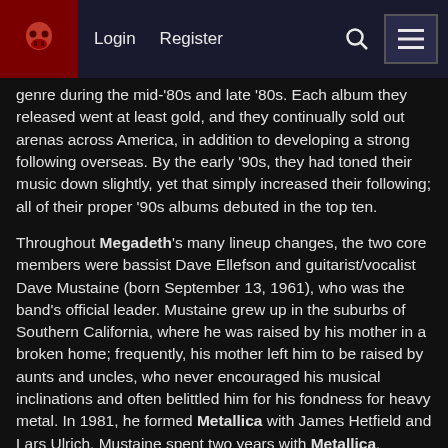Login  Register  [search] [menu]
genre during the mid-'80s and late '80s. Each album they released went at least gold, and they continually sold out arenas across America, in addition to developing a strong following overseas. By the early '90s, they had toned their music down slightly, yet that simply increased their following; all of their proper '90s albums debuted in the top ten.
Throughout Megadeth's many lineup changes, the two core members were bassist Dave Ellefson and guitarist/vocalist Dave Mustaine (born September 13, 1961), who was the band's official leader. Mustaine grew up in the suburbs of Southern California, where he was raised by his mother in a broken home; frequently, his mother left him to be raised by aunts and uncles, who never encouraged his musical inclinations and often belittled him for his fondness for heavy metal. In 1981, he formed Metallica with James Hetfield and Lars Ulrich. Mustaine spent two years with Metallica, developing a strong cult following in California's underground metal scene, before he was kicked out of the group in 1983, allegedly over his substance abuse.
For the next few years, Megadeth toured and gained a following, signing with the independent label Combat Records in late 1984. The following year, the group released their debut, Killing Is My Business-And Business Is Good!, which received strong reviews, not only in metal-oriented